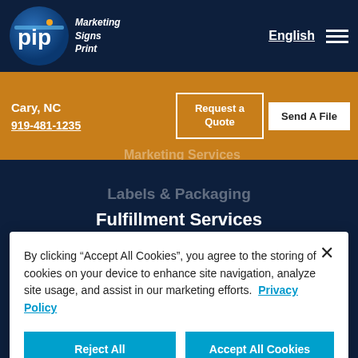[Figure (screenshot): PIP Marketing Signs Print website screenshot showing navigation header with logo, English language selector, hamburger menu, orange bar with Cary NC location and 919-481-1235 phone, Request a Quote and Send A File buttons, faded menu items (Tradeshows, Labels & Packaging), Fulfillment Services heading, and Social Distancing & Safety partial text]
By clicking “Accept All Cookies”, you agree to the storing of cookies on your device to enhance site navigation, analyze site usage, and assist in our marketing efforts.  Privacy Policy
Reject All
Accept All Cookies
Cookies Settings